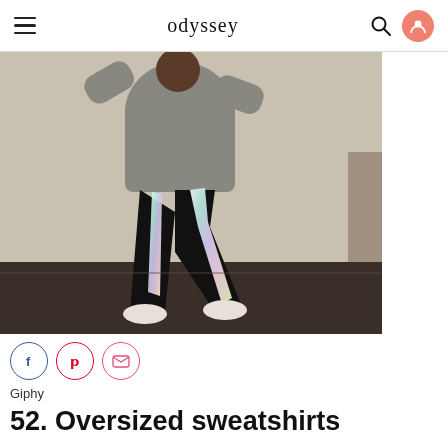odyssey
[Figure (photo): Person wearing black leggings with holographic/iridescent reflective stripe detail on the side, dancing or moving in a room with white walls and dark floor. Wearing a grey sweatshirt and white fluffy slippers. Photo from Giphy.]
Giphy
52. Oversized sweatshirts